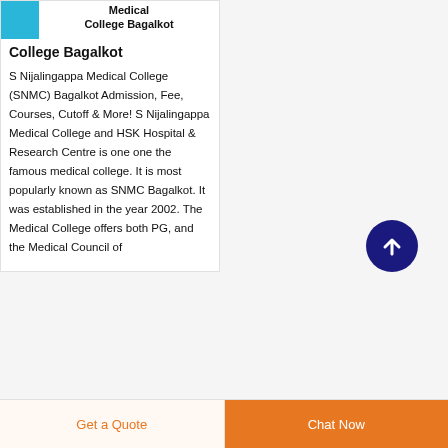Medical College Bagalkot
S Nijalingappa Medical College (SNMC) Bagalkot Admission, Fee, Courses, Cutoff & More! S Nijalingappa Medical College and HSK Hospital & Research Centre is one one the famous medical college. It is most popularly known as SNMC Bagalkot. It was established in the year 2002. The Medical College offers both PG, and the Medical Council of
[Figure (other): Dark navy circular button with upward arrow icon (scroll to top button)]